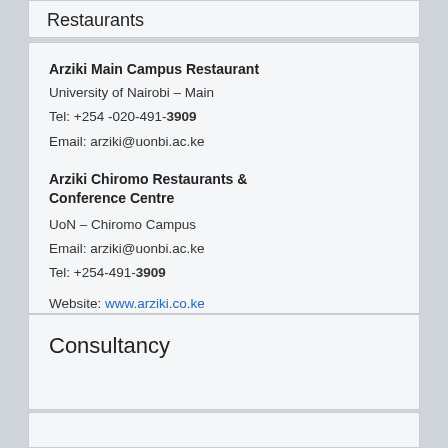Restaurants
Arziki Main Campus Restaurant
University of Nairobi – Main
Tel: +254 -020-491-3909
Email: arziki@uonbi.ac.ke
Arziki Chiromo Restaurants & Conference Centre
UoN – Chiromo Campus
Email: arziki@uonbi.ac.ke
Tel: +254-491-3909
Website: www.arziki.co.ke
Consultancy